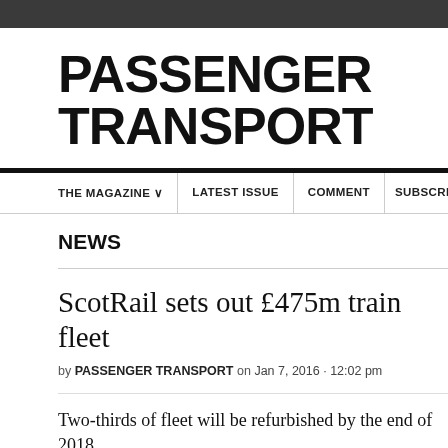PASSENGER TRANSPORT
THE MAGAZINE  LATEST ISSUE  COMMENT  SUBSCRIB
NEWS
ScotRail sets out £475m train fleet
by PASSENGER TRANSPORT on Jan 7, 2016 · 12:02 pm
Two-thirds of fleet will be refurbished by the end of 2018